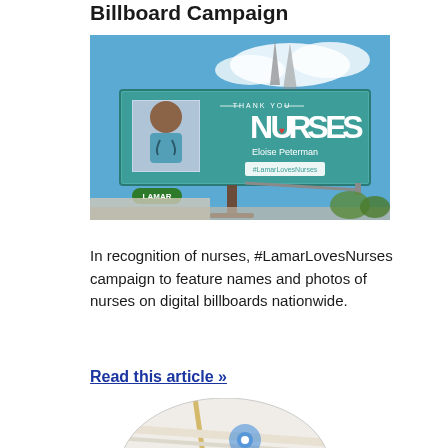Billboard Campaign
[Figure (photo): Photo of a Lamar digital billboard featuring 'THANK YOU NURSES' text with the name Eloise Peterman and hashtag #LamarLovesNurses, set against a blue sky]
In recognition of nurses, #LamarLovesNurses campaign to feature names and photos of nurses on digital billboards nationwide.
Read this article »
[Figure (map): Partial view of a circular map graphic showing roads and a location marker]